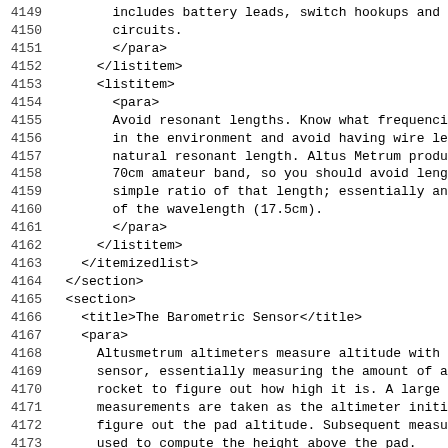XML/DocBook source code listing, lines 4149-4181, showing document markup for a section about The Barometric Sensor, including listitem/para tags and content about resonant lengths, Altus Metrum products, and barometric sensor altitude measurement.